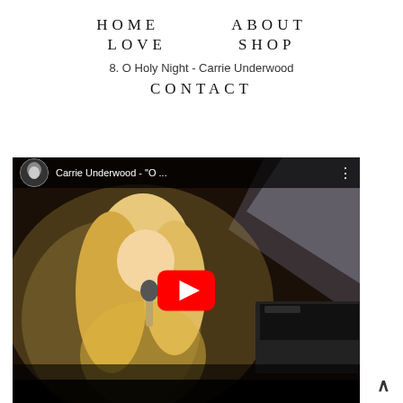HOME    ABOUT
LOVE    SHOP
8. O Holy Night - Carrie Underwood
CONTACT
[Figure (screenshot): YouTube video embed showing Carrie Underwood singing, with video title 'Carrie Underwood - "O ...' and a red YouTube play button overlay]
^